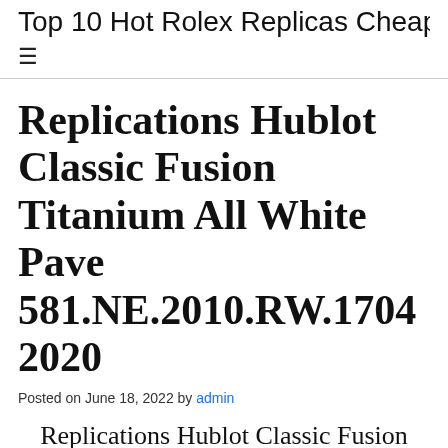Top 10 Hot Rolex Replicas Cheap
Replications Hublot Classic Fusion Titanium All White Pave 581.NE.2010.RW.1704 2020
Posted on June 18, 2022 by admin
Replications Hublot Classic Fusion Titanium All White Pave